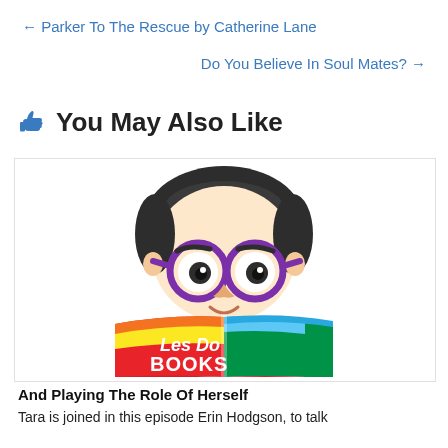← Parker To The Rescue by Catherine Lane
Do You Believe In Soul Mates? →
👍 You May Also Like
[Figure (logo): Les Do Books podcast logo: cartoon character with dark hair and purple round glasses reading a rainbow-colored book with text 'Les Do BOOKS']
And Playing The Role Of Herself
Tara is joined in this episode Erin Hodgson, to talk